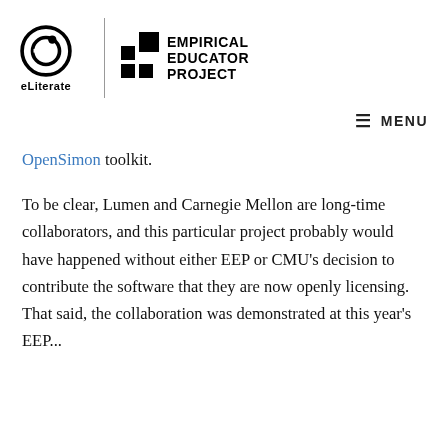[Figure (logo): eLiterate logo (stylized e in circle) and Empirical Educator Project logo with text, separated by vertical divider line]
≡ MENU
OpenSimon toolkit.
To be clear, Lumen and Carnegie Mellon are long-time collaborators, and this particular project probably would have happened without either EEP or CMU's decision to contribute the software that they are now openly licensing. That said, the collaboration was demonstrated at this year's EEP... [continues]